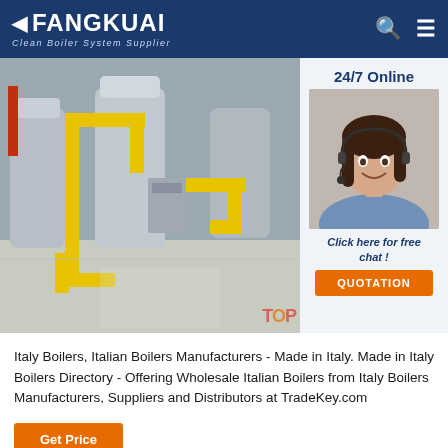FANGKUAI — Clean Boiler System Supplier
[Figure (photo): Industrial boiler room with yellow gas pipes, silver cylindrical tanks and industrial equipment on a reflective floor.]
24/7 Online
[Figure (photo): Customer service agent, a woman with dark hair wearing a headset and smiling.]
Click here for free chat !
QUOTATION
Italy Boilers, Italian Boilers Manufacturers - Made in Italy. Made in Italy Boilers Directory - Offering Wholesale Italian Boilers from Italy Boilers Manufacturers, Suppliers and Distributors at TradeKey.com
Get Price